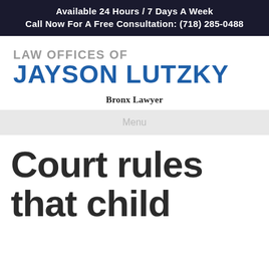Available 24 Hours / 7 Days A Week
Call Now For A Free Consultation: (718) 285-0488
[Figure (logo): Law Offices of Jayson Lutzky law firm logo]
Bronx Lawyer
Menu
Court rules that child